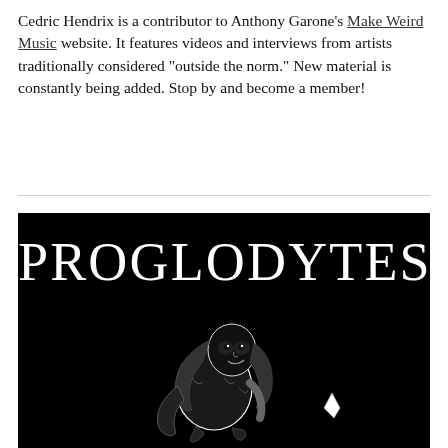Cedric Hendrix is a contributor to Anthony Garone's Make Weird Music website. It features videos and interviews from artists traditionally considered "outside the norm." New material is constantly being added. Stop by and become a member!
[Figure (illustration): Black background image with large white serif text 'PROGLODYTES' at the top, and below it a black-and-white illustration of a cave-person/primitive figure with long hair in a crouching pose.]